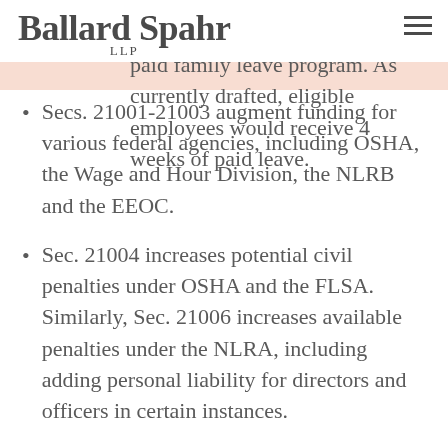Ballard Spahr LLP
assess 2021 creates a federal paid family leave program. As currently drafted, eligible employees would receive 4 weeks of paid leave.
Secs. 21001-21003 augment funding for various federal agencies, including OSHA, the Wage and Hour Division, the NLRB and the EEOC.
Sec. 21004 increases potential civil penalties under OSHA and the FLSA. Similarly, Sec. 21006 increases available penalties under the NLRA, including adding personal liability for directors and officers in certain instances.
Sec. 136102 of the bill includes an extension and modification of the energy credit. Certain